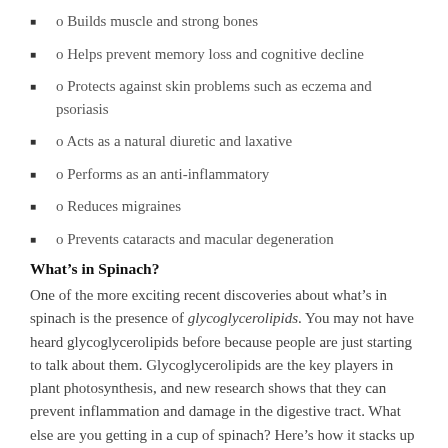o Builds muscle and strong bones
o Helps prevent memory loss and cognitive decline
o Protects against skin problems such as eczema and psoriasis
o Acts as a natural diuretic and laxative
o Performs as an anti-inflammatory
o Reduces migraines
o Prevents cataracts and macular degeneration
What’s in Spinach?
One of the more exciting recent discoveries about what’s in spinach is the presence of glycoglycerolipids. You may not have heard glycoglycerolipids before because people are just starting to talk about them. Glycoglycerolipids are the key players in plant photosynthesis, and new research shows that they can prevent inflammation and damage in the digestive tract. What else are you getting in a cup of spinach? Here’s how it stacks up by percentage of Daily Values: